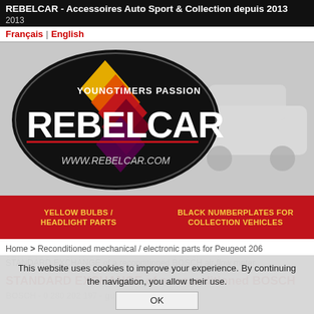REBELCAR - Accessoires Auto Sport & Collection depuis 2013
Français | English
[Figure (logo): REBELCAR logo with black oval, YOUNGTIMERS PASSION tagline, colorful diamond shapes in red/orange/yellow/purple, and www.rebelcar.com URL. Background shows a faded white car (Peugeot).]
YELLOW BULBS / HEADLIGHT PARTS
BLACK NUMBERPLATES FOR COLLECTION VEHICLES
Home > Reconditioned mechanical / electronic parts for Peugeot 205
STANDARD EXCHANGE of a reconditioned BOSCH air flow meter
STANDARD EXCHANGE of a reconditioned BOSCH
BOSCH - 0 280 202 197 - guaranteed part
This website uses cookies to improve your experience. By continuing the navigation, you allow their use.
OK